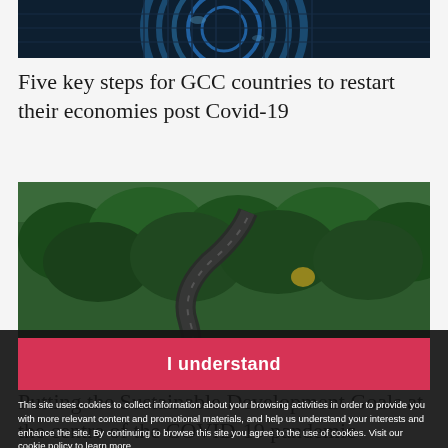[Figure (photo): Aerial/close-up view of a circular glass building facade with blue tones]
Five key steps for GCC countries to restart their economies post Covid-19
[Figure (photo): Aerial view of a winding road through a dense green forest]
I understand
This site uses cookies to collect information about your browsing activities in order to provide you with more relevant content and promotional materials, and help us understand your interests and enhance the site. By continuing to browse this site you agree to the use of cookies. Visit our cookie policy to learn more.
Putting the Sustainable Development Goals at the centre of the COVID-19 pandemic response